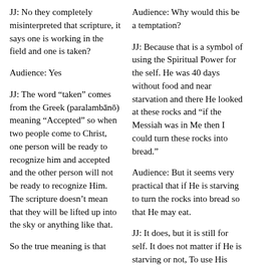JJ: No they completely misinterpreted that scripture, it says one is working in the field and one is taken?
Audience: Yes
JJ: The word “taken” comes from the Greek (paralambano) meaning “Accepted” so when two people come to Christ, one person will be ready to recognize him and accepted and the other person will not be ready to recognize Him. The scripture doesn’t mean that they will be lifted up into the sky or anything like that.
So the true meaning is that
Audience: Why would this be a temptation?
JJ: Because that is a symbol of using the Spiritual Power for the self. He was 40 days without food and near starvation and there He looked at these rocks and “if the Messiah was in Me then I could turn these rocks into bread.”
Audience: But it seems very practical that if He is starving to turn the rocks into bread so that He may eat.
JJ: It does, but it is still for self. It does not matter if He is starving or not, To use His first